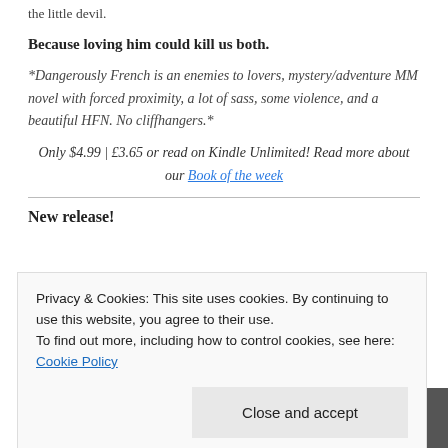the little devil.
Because loving him could kill us both.
*Dangerously French is an enemies to lovers, mystery/adventure MM novel with forced proximity, a lot of sass, some violence, and a beautiful HFN. No cliffhangers.*
Only $4.99 | £3.65 or read on Kindle Unlimited! Read more about our Book of the week
New release!
Privacy & Cookies: This site uses cookies. By continuing to use this website, you agree to their use.
To find out more, including how to control cookies, see here: Cookie Policy
his need for adventure was